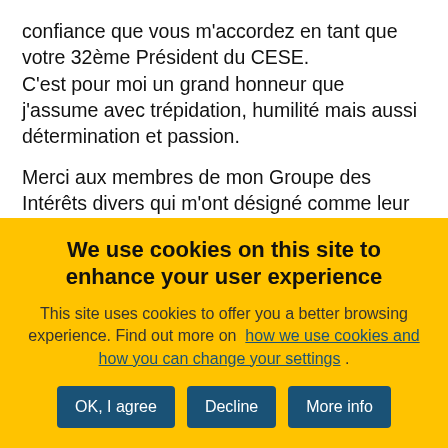confiance que vous m'accordez en tant que votre 32ème Président du CESE.
C'est pour moi un grand honneur que j'assume avec trépidation, humilité mais aussi détermination et passion.
Merci aux membres de mon Groupe des Intérêts divers qui m'ont désigné comme leur candidat. Ce fut un privilège d'être votre Président durant 7 ans et demi et
We use cookies on this site to enhance your user experience
This site uses cookies to offer you a better browsing experience. Find out more on how we use cookies and how you can change your settings .
OK, I agree
Decline
More info